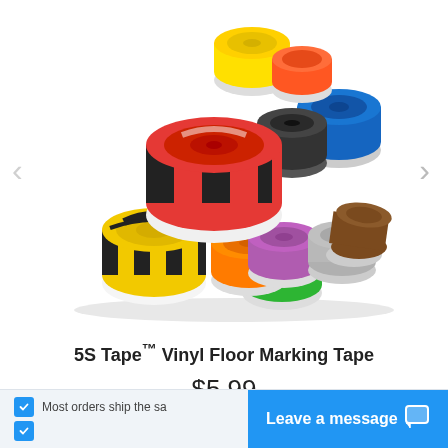[Figure (photo): Multiple rolls of colorful vinyl floor marking tape stacked together, including colors like yellow, orange, red, black & white striped, green, purple, gray, brown, and blue.]
5S Tape™ Vinyl Floor Marking Tape
$5.99
• 8 Sizes • 14 Colors
Most orders ship the sa
Leave a message